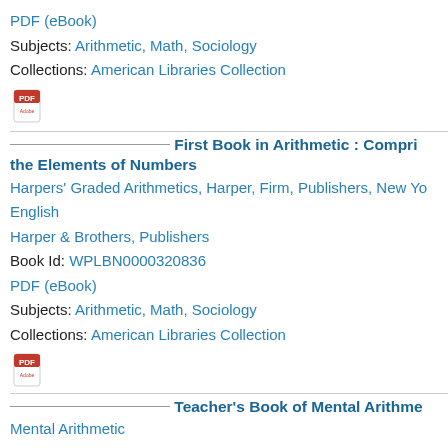PDF (eBook)
Subjects: Arithmetic, Math, Sociology
Collections: American Libraries Collection
[Figure (logo): PDF/Adobe Acrobat icon (red and white)]
First Book in Arithmetic : Compri the Elements of Numbers
Harpers' Graded Arithmetics, Harper, Firm, Publishers, New Yo
English
Harper & Brothers, Publishers
Book Id: WPLBN0000320836
PDF (eBook)
Subjects: Arithmetic, Math, Sociology
Collections: American Libraries Collection
[Figure (logo): PDF/Adobe Acrobat icon (red and white)]
Teacher's Book of Mental Arithme
Mental Arithmetic
English
Book Id: WPLBN0001326734